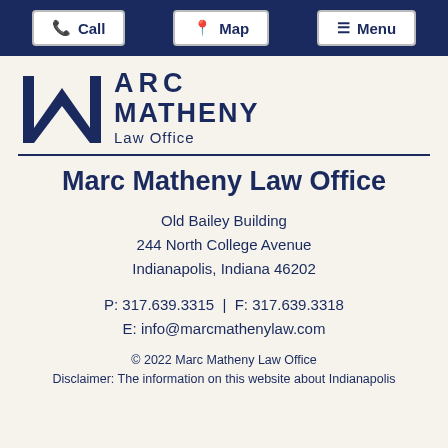Call | Map | Menu
[Figure (logo): Marc Matheny Law Office logo with large stylized M and firm name in navy blue]
Marc Matheny Law Office
Old Bailey Building
244 North College Avenue
Indianapolis, Indiana 46202
P: 317.639.3315 | F: 317.639.3318
E: info@marcmathenylaw.com
© 2022 Marc Matheny Law Office
Disclaimer: The information on this website about Indianapolis